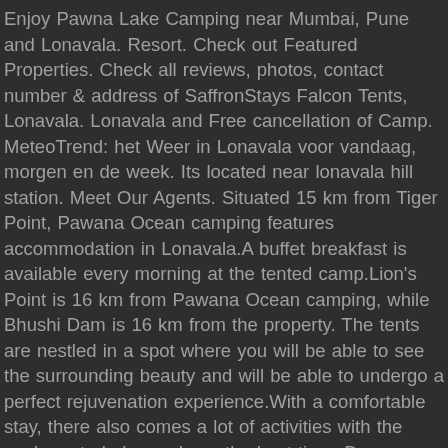Enjoy Pawna Lake Camping near Mumbai, Pune and Lonavala. Resort. Check out Featured Properties. Check all reviews, photos, contact number & address of SaffronStays Falcon Tents, Lonavala. Lonavala and Free cancellation of Camp. MeteoTrend: het Weer in Lonavala voor vandaag, morgen en de week. Its located near lonavala hill station. Meet Our Agents. Situated 15 km from Tiger Point, Pawana Ocean camping features accommodation in Lonavala.A buffet breakfast is available every morning at the tented camp.Lion's Point is 16 km from Pawana Ocean camping, while Bhushi Dam is 16 km from the property. The tents are nestled in a spot where you will be able to see the surrounding beauty and will be able to undergo a perfect rejuvenation experience.With a comfortable stay, there also comes a lot of activities with the package to help you have the best time. De accommodatie biedt uitzicht op de bergen en ligt op 8 km van de Bhushi ... At the academy we have 27 luxurious glamping tents, of 500 sq. About. For example you can trek to the near by tikona fort.